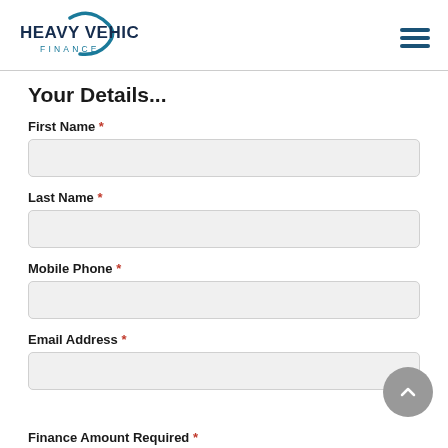Heavy Vehicle Finance
Your Details...
First Name *
Last Name *
Mobile Phone *
Email Address *
Finance Amount Required *